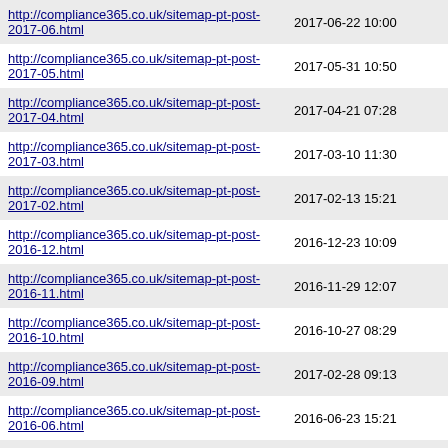| URL | Date |
| --- | --- |
| http://compliance365.co.uk/sitemap-pt-post-2017-06.html | 2017-06-22 10:00 |
| http://compliance365.co.uk/sitemap-pt-post-2017-05.html | 2017-05-31 10:50 |
| http://compliance365.co.uk/sitemap-pt-post-2017-04.html | 2017-04-21 07:28 |
| http://compliance365.co.uk/sitemap-pt-post-2017-03.html | 2017-03-10 11:30 |
| http://compliance365.co.uk/sitemap-pt-post-2017-02.html | 2017-02-13 15:21 |
| http://compliance365.co.uk/sitemap-pt-post-2016-12.html | 2016-12-23 10:09 |
| http://compliance365.co.uk/sitemap-pt-post-2016-11.html | 2016-11-29 12:07 |
| http://compliance365.co.uk/sitemap-pt-post-2016-10.html | 2016-10-27 08:29 |
| http://compliance365.co.uk/sitemap-pt-post-2016-09.html | 2017-02-28 09:13 |
| http://compliance365.co.uk/sitemap-pt-post-2016-06.html | 2016-06-23 15:21 |
| http://compliance365.co.uk/sitemap-pt-post-2016-05.html | 2016-05-24 15:19 |
| http://compliance365.co.uk/sitemap-pt-post-2016-04.html | 2016-08-24 13:45 |
| http://compliance365.co.uk/sitemap-pt-post-2015-09.html | 2019-03-14 11:33 |
| http://compliance365.co.uk/sitemap-pt-post-2015-08.html | 2015-08-27 15:08 |
| http://compliance365.co.uk/sitemap-pt-post-2015-06.html | 2015-08-26 19:51 |
| http://compliance365.co.uk/sitemap-pt-post-2015-05.html | 2015-08-26 19:53 |
| http://compliance365.co.uk/sitemap-pt-page-2022-06.html | 2022-07-17 20:09 |
| http://compliance365.co.uk/sitemap-pt-page-2021-10.html | 2022-07-17 20:39 |